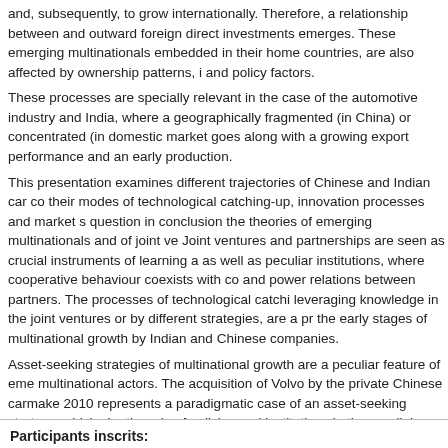and, subsequently, to grow internationally. Therefore, a relationship between and outward foreign direct investments emerges. These emerging multinationals embedded in their home countries, are also affected by ownership patterns, i and policy factors.
These processes are specially relevant in the case of the automotive industry and India, where a geographically fragmented (in China) or concentrated (in domestic market goes along with a growing export performance and an early production.
This presentation examines different trajectories of Chinese and Indian car co their modes of technological catching-up, innovation processes and market s question in conclusion the theories of emerging multinationals and of joint ve Joint ventures and partnerships are seen as crucial instruments of learning a as well as peculiar institutions, where cooperative behaviour coexists with co and power relations between partners. The processes of technological catchi leveraging knowledge in the joint ventures or by different strategies, are a pr the early stages of multinational growth by Indian and Chinese companies.
Asset-seeking strategies of multinational growth are a peculiar feature of em multinational actors. The acquisition of Volvo by the private Chinese carmake 2010 represents a paradigmatic case of an asset-seeking strategy, which sh the role of policies and institutions in the parallel trajectories of technology c international growth.
Participants inscrits: